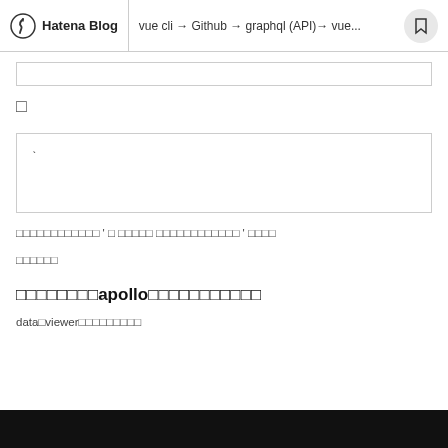Hatena Blog | vue cli → Github → graphql (API)→ vue...
[Figure (screenshot): Input box UI element (thin rectangle)]
□
[Figure (screenshot): Code/text box UI element with backtick character]
□□□□□□□□□□□□ ' □ □□□□□ □□□□□□□□□□□□ ' □□□□
□□□□□□
□□□□□□□□apollo□□□□□□□□□□□
data□viewer□□□□□□□□□